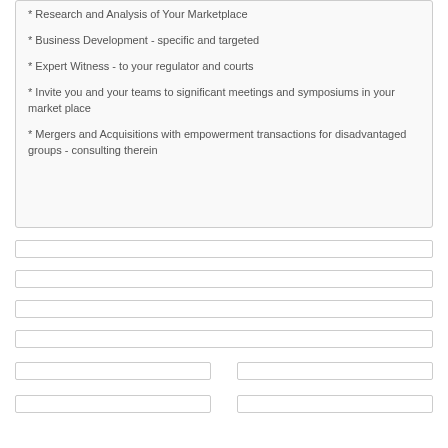* Research and Analysis of Your Marketplace
* Business Development - specific and targeted
* Expert Witness - to your regulator and courts
* Invite you and your teams to significant meetings and symposiums in your market place
* Mergers and Acquisitions with empowerment transactions for disadvantaged groups - consulting therein